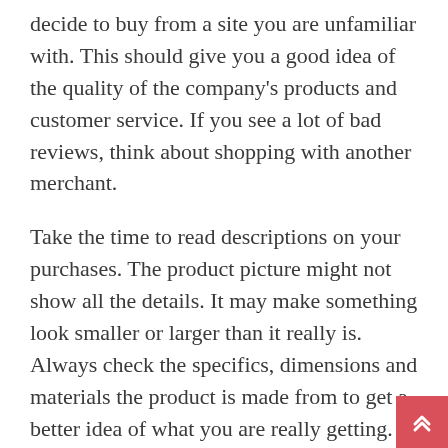decide to buy from a site you are unfamiliar with. This should give you a good idea of the quality of the company's products and customer service. If you see a lot of bad reviews, think about shopping with another merchant.
Take the time to read descriptions on your purchases. The product picture might not show all the details. It may make something look smaller or larger than it really is. Always check the specifics, dimensions and materials the product is made from to get a better idea of what you are really getting.
Focus your shopping search with websites that